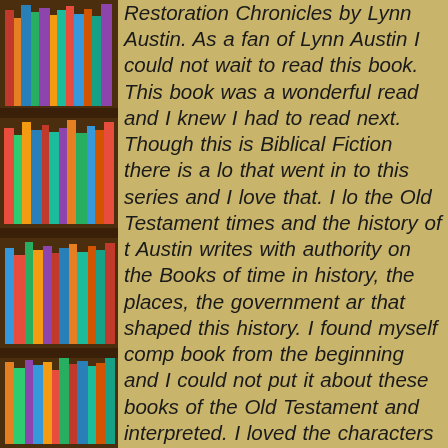[Figure (photo): Photograph of wooden bookshelves filled with colorful books on the left side of the page]
Restoration Chronicles by Lynn Austin. As a fan of Lynn Austin I could not wait to read this book. This book was a wonderful read and I knew I had to read next. Though this is Biblical Fiction there is a lot of research that went in to this series and I love that. I love learning about the Old Testament times and the history of the time. Lynn Austin writes with authority on the Books of Ezra, the time in history, the places, the government and the culture that shaped this history. I found myself completely in the book from the beginning and I could not put it down. I love about these books of the Old Testament and how they are interpreted. I loved the characters in this book. There were new characters to the series but it was a pleasure to find out what happened to Hodaya (From Return To Me) and who adopted her. I really enjoyed the storyline of Ezra's return after The Thirteenth of Adar and seeing how their obedience to God's law was rewarded. This story is a wonderful addition to the series and I cannot wait to read the next one. I recommend this book to anyone who enjoys Biblical Fiction and